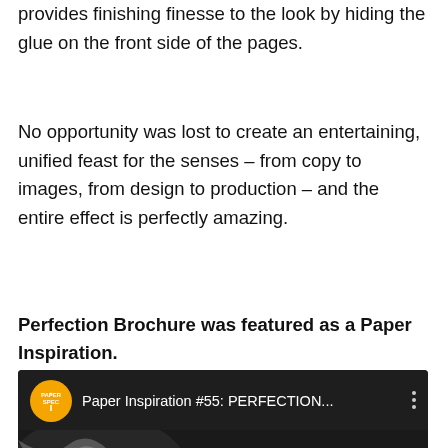provides finishing finesse to the look by hiding the glue on the front side of the pages.
No opportunity was lost to create an entertaining, unified feast for the senses – from copy to images, from design to production – and the entire effect is perfectly amazing.
Perfection Brochure was featured as a Paper Inspiration.
[Figure (screenshot): Video thumbnail for Paper Inspiration #55: PERFECTION... with PaperSpec orange logo circle, three-dot menu, and dark background with abstract close-up image]